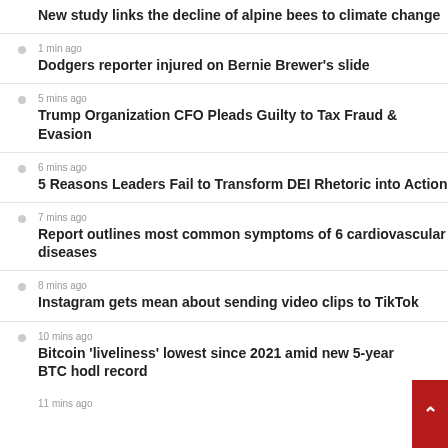New study links the decline of alpine bees to climate change
1 min ago
Dodgers reporter injured on Bernie Brewer’s slide
5 mins ago
Trump Organization CFO Pleads Guilty to Tax Fraud & Evasion
6 mins ago
5 Reasons Leaders Fail to Transform DEI Rhetoric into Action
7 mins ago
Report outlines most common symptoms of 6 cardiovascular diseases
8 mins ago
Instagram gets mean about sending video clips to TikTok
10 mins ago
Bitcoin ‘liveliness’ lowest since 2021 amid new 5-year BTC hodl record
11 mins ago